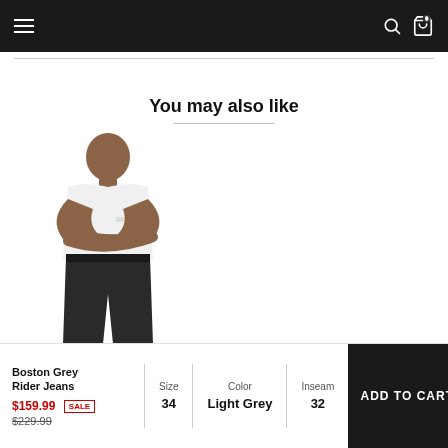Navigation bar with menu, search, and cart icons
You may also like
[Figure (photo): Man wearing a white t-shirt and dark grey/black jeans, arms crossed, standing against white background]
Boston Grey Rider Jeans
$159.99 SALE $229.99
Size 34
Color Light Grey
Inseam 32
ADD TO CART